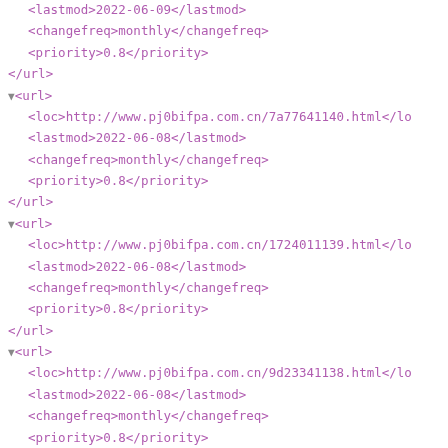<lastmod>2022-06-09</lastmod>
<changefreq>monthly</changefreq>
<priority>0.8</priority>
</url>
▼<url>
<loc>http://www.pj0bifpa.com.cn/7a77641140.html</loc>
<lastmod>2022-06-08</lastmod>
<changefreq>monthly</changefreq>
<priority>0.8</priority>
</url>
▼<url>
<loc>http://www.pj0bifpa.com.cn/1724011139.html</loc>
<lastmod>2022-06-08</lastmod>
<changefreq>monthly</changefreq>
<priority>0.8</priority>
</url>
▼<url>
<loc>http://www.pj0bifpa.com.cn/9d23341138.html</loc>
<lastmod>2022-06-08</lastmod>
<changefreq>monthly</changefreq>
<priority>0.8</priority>
</url>
▼<url>
<loc>http://www.pj0bifpa.com.cn/cg7331137.html</loc>
<lastmod>2022-06-07</lastmod>
<changefreq>monthly</changefreq>
<priority>0.8</priority>
</url>
▼<url>
<loc>http://www.pj0bifpa.com.cn/2n17221136.html</loc>